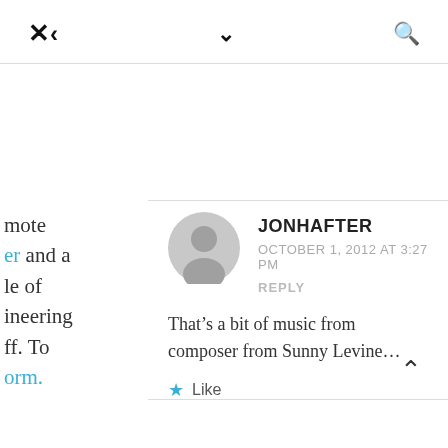× ‹ ∨ 🔍
mote er and a le of ineering ff. To orm.
JONHAFTER
OCTOBER 1, 2012 AT 3:27 PM
REPLY
That’s a bit of music from composer from Sunny Levine…
★ Like